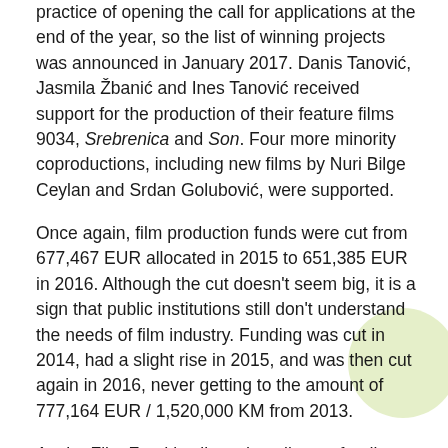practice of opening the call for applications at the end of the year, so the list of winning projects was announced in January 2017. Danis Tanović, Jasmila Žbanić and Ines Tanović received support for the production of their feature films 9034, Srebrenica and Son. Four more minority coproductions, including new films by Nuri Bilge Ceylan and Srdan Golubović, were supported.
Once again, film production funds were cut from 677,467 EUR allocated in 2015 to 651,385 EUR in 2016. Although the cut doesn't seem big, it is a sign that public institutions still don't understand the needs of film industry. Funding was cut in 2014, had a slight rise in 2015, and was then cut again in 2016, never getting to the amount of 777,164 EUR / 1,520,000 KM from 2013.
As the Film Fund is allowed to allocate funding only to production companies registered in the Federation of Bosnia and Herzegovina, production companies from Republika Srpska depend on the willingness of the Ministry of Education and Culture of Republika Srpska to open a call for co-funding of film projects. The Ministry opened a call in August 2015 allocating